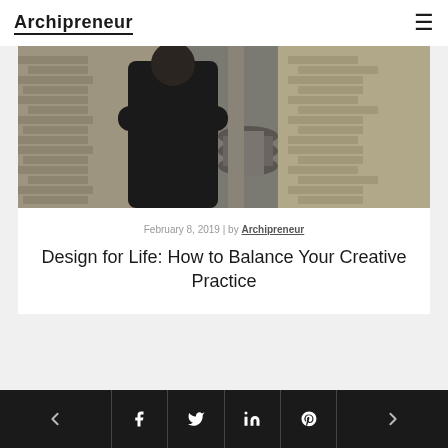Archipreneur
[Figure (photo): Person in black outfit standing with arms crossed in front of a brick wall with industrial elements]
February 8, 2019 | by Archipreneur
Design for Life: How to Balance Your Creative Practice
Navigation footer with back arrow, Facebook, Twitter, LinkedIn, Pinterest icons, and forward arrow